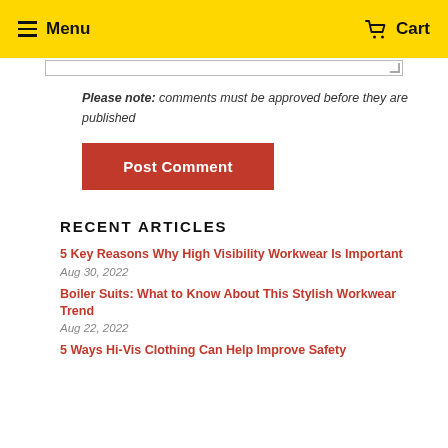Menu  Cart
Please note: comments must be approved before they are published
Post Comment
RECENT ARTICLES
5 Key Reasons Why High Visibility Workwear Is Important
Aug 30, 2022
Boiler Suits: What to Know About This Stylish Workwear Trend
Aug 22, 2022
5 Ways Hi-Vis Clothing Can Help Improve Safety